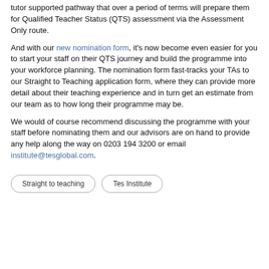tutor supported pathway that over a period of terms will prepare them for Qualified Teacher Status (QTS) assessment via the Assessment Only route.
And with our new nomination form, it's now become even easier for you to start your staff on their QTS journey and build the programme into your workforce planning. The nomination form fast-tracks your TAs to our Straight to Teaching application form, where they can provide more detail about their teaching experience and in turn get an estimate from our team as to how long their programme may be.
We would of course recommend discussing the programme with your staff before nominating them and our advisors are on hand to provide any help along the way on 0203 194 3200 or email institute@tesglobal.com.
Straight to teaching
Tes Institute